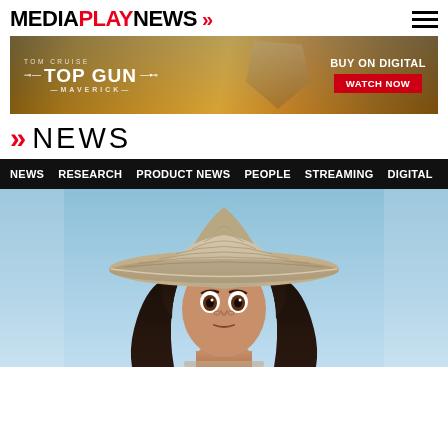MEDIAPLAYNEWS
[Figure (photo): Top Gun: Maverick advertisement banner - BUY ON DIGITAL / WATCH NOW]
>> NEWS
NEWS   RESEARCH   PRODUCT NEWS   PEOPLE   STREAMING   DIGITAL
[Figure (photo): Animated female character wearing a large conical Asian hat, from Disney's Raya and the Last Dragon, looking concerned, against a light blue sky background]